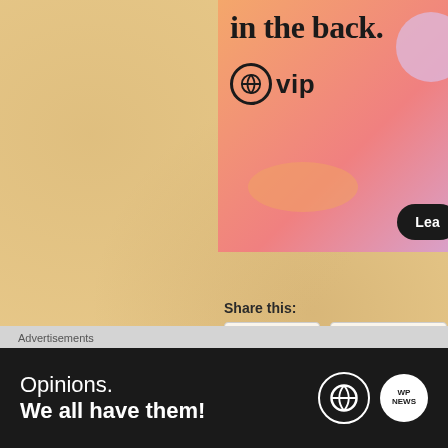[Figure (infographic): WordPress VIP advertisement banner with text 'in the back.' and WordPress VIP logo, orange-pink gradient background with decorative circles and a 'Lea' button]
Share this:
Twitter
Facebook
Loading...
Related
Poetry | Nostalgic Stirrings
I wrote this a few weeks ago for a friend. I
[Figure (photo): Small thumbnail image showing trees or foliage]
Advertisements
[Figure (infographic): Dark banner advertisement: 'Opinions. We all have them!' with WordPress and WP News logos]